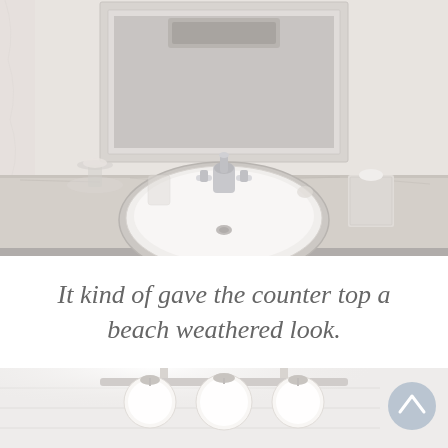[Figure (photo): Close-up photo of a white bathroom vanity with a round white drop-in sink, chrome faucet with white handles, a glass pedestal dish with soap, a glass cup, a tissue box, and a white distressed mirror frame above. The countertop has a light gray painted beach-weathered finish.]
It kind of gave the counter top a beach weathered look.
[Figure (photo): Partial photo of a white bathroom showing a globe light bar fixture with three round globe bulbs mounted above a mirror, with white shiplap walls visible in the background. A circular scroll-to-top button is visible in the top right corner.]